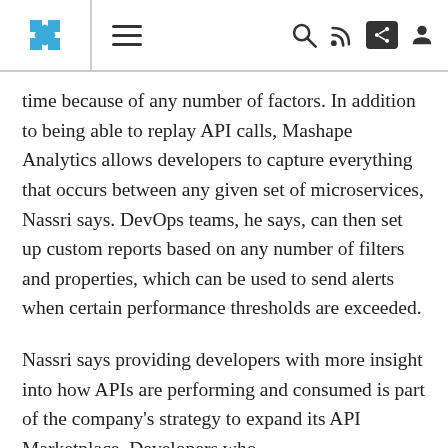[Navigation bar with logo, hamburger menu, search, RSS, share, and user icons]
time because of any number of factors. In addition to being able to replay API calls, Mashape Analytics allows developers to capture everything that occurs between any given set of microservices, Nassri says. DevOps teams, he says, can then set up custom reports based on any number of filters and properties, which can be used to send alerts when certain performance thresholds are exceeded.
Nassri says providing developers with more insight into how APIs are performing and consumed is part of the company's strategy to expand its API Marketplace. Developers who